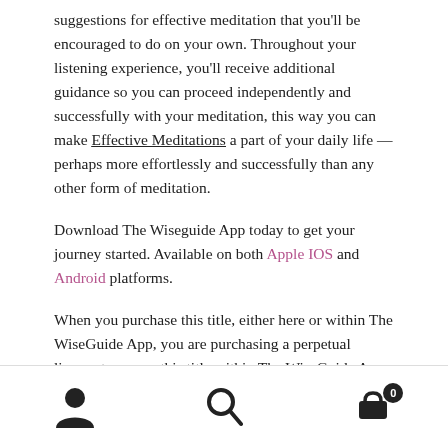suggestions for effective meditation that you'll be encouraged to do on your own. Throughout your listening experience, you'll receive additional guidance so you can proceed independently and successfully with your meditation, this way you can make Effective Meditations a part of your daily life — perhaps more effortlessly and successfully than any other form of meditation.
Download The Wiseguide App today to get your journey started. Available on both Apple IOS and Android platforms.
When you purchase this title, either here or within The WiseGuide App, you are purchasing a perpetual license to access this title within The WiseGuide App. You'll be able
[Figure (other): Bottom navigation bar with three icons: a person/user icon on the left, a search magnifying glass icon in the center, and a shopping cart icon with a badge showing '0' on the right.]